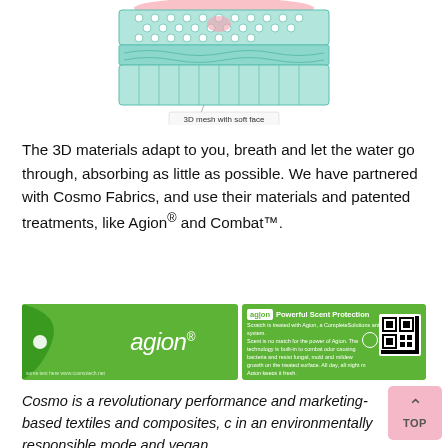[Figure (illustration): Engineering illustration of a 3D mesh fabric with soft face showing layers and hands pressing on top surface]
3D mesh with soft face
The 3D materials adapt to you, breath and let the water go through, absorbing as little as possible. We have partnered with Cosmo Fabrics, and use their materials and patented treatments, like Agion® and Combat™.
[Figure (logo): Two Agion branded promotional panels: left green panel with agion logo italic text; right green panel with Agion Powerful Scent Protection label and QR code]
Cosmo is a revolutionary performance and marketing-based textiles and composites, created in an environmentally responsible mode and vegan